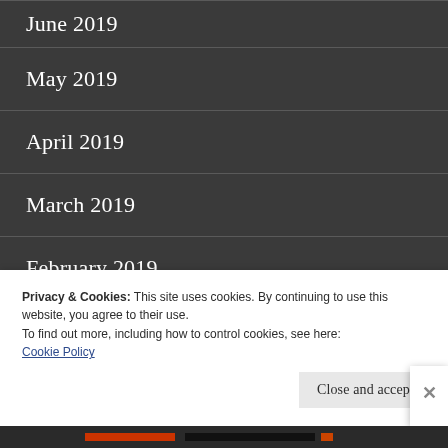June 2019
May 2019
April 2019
March 2019
February 2019
January 2019
Privacy & Cookies: This site uses cookies. By continuing to use this website, you agree to their use.
To find out more, including how to control cookies, see here:
Cookie Policy
Close and accept